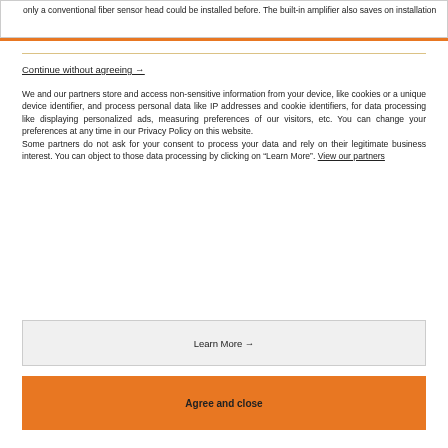only a conventional fiber sensor head could be installed before. The built-in amplifier also saves on installation
Continue without agreeing →
We and our partners store and access non-sensitive information from your device, like cookies or a unique device identifier, and process personal data like IP addresses and cookie identifiers, for data processing like displaying personalized ads, measuring preferences of our visitors, etc. You can change your preferences at any time in our Privacy Policy on this website.
Some partners do not ask for your consent to process your data and rely on their legitimate business interest. You can object to those data processing by clicking on “Learn More”. View our partners
Learn More →
Agree and close